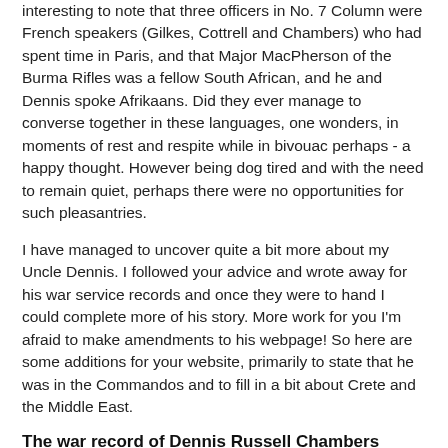interesting to note that three officers in No. 7 Column were French speakers (Gilkes, Cottrell and Chambers) who had spent time in Paris, and that Major MacPherson of the Burma Rifles was a fellow South African, and he and Dennis spoke Afrikaans. Did they ever manage to converse together in these languages, one wonders, in moments of rest and respite while in bivouac perhaps - a happy thought. However being dog tired and with the need to remain quiet, perhaps there were no opportunities for such pleasantries.
I have managed to uncover quite a bit more about my Uncle Dennis. I followed your advice and wrote away for his war service records and once they were to hand I could complete more of his story. More work for you I'm afraid to make amendments to his webpage! So here are some additions for your website, primarily to state that he was in the Commandos and to fill in a bit about Crete and the Middle East.
The war record of Dennis Russell Chambers
Having completed his basic training with RASC, Dennis was transferred to their HQ in Norwich in February 1940. He was an early volunteer for the Commandos when during June 1940 volunteers were sought for